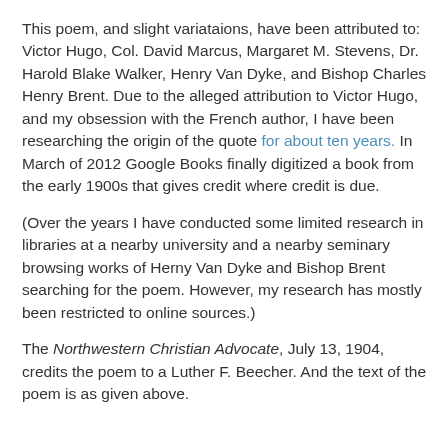This poem, and slight variataions, have been attributed to: Victor Hugo, Col. David Marcus, Margaret M. Stevens, Dr. Harold Blake Walker, Henry Van Dyke, and Bishop Charles Henry Brent. Due to the alleged attribution to Victor Hugo, and my obsession with the French author, I have been researching the origin of the quote for about ten years. In March of 2012 Google Books finally digitized a book from the early 1900s that gives credit where credit is due.
(Over the years I have conducted some limited research in libraries at a nearby university and a nearby seminary browsing works of Herny Van Dyke and Bishop Brent searching for the poem. However, my research has mostly been restricted to online sources.)
The Northwestern Christian Advocate, July 13, 1904, credits the poem to a Luther F. Beecher. And the text of the poem is as given above.